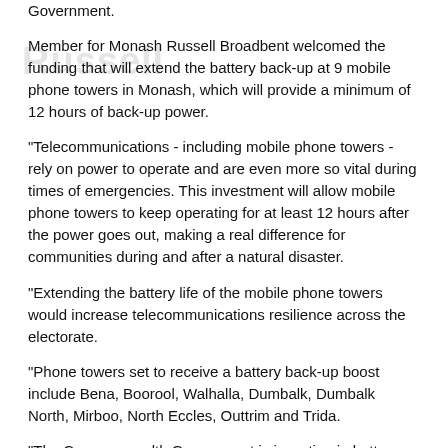Government.
Member for Monash Russell Broadbent welcomed the funding that will extend the battery back-up at 9 mobile phone towers in Monash, which will provide a minimum of 12 hours of back-up power.
“Telecommunications - including mobile phone towers - rely on power to operate and are even more so vital during times of emergencies. This investment will allow mobile phone towers to keep operating for at least 12 hours after the power goes out, making a real difference for communities during and after a natural disaster.
“Extending the battery life of the mobile phone towers would increase telecommunications resilience across the electorate.
“Phone towers set to receive a battery back-up boost include Bena, Boorool, Walhalla, Dumbalk, Dumbalk North, Mirboo, North Eccles, Outtrim and Trida.
“The Commonwealth Government is investing in battery back-up to keep mobile phone towers operating longer when the power goes out during or after natural disasters,” Mr Broadbent said.
The Commonwealth is providing a total of $17.3 million to Telstra